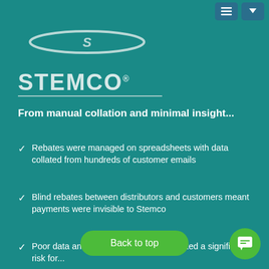[Figure (logo): STEMCO logo with oval S symbol above the text STEMCO with registered trademark, white/light teal on teal background, with underline]
From manual collation and minimal insight...
Rebates were managed on spreadsheets with data collated from hundreds of customer emails
Blind rebates between distributors and customers meant payments were invisible to Stemco
Poor data and difficulty of reporting created a significant risk for...